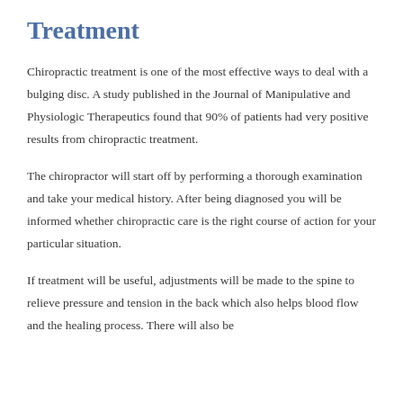Treatment
Chiropractic treatment is one of the most effective ways to deal with a bulging disc. A study published in the Journal of Manipulative and Physiologic Therapeutics found that 90% of patients had very positive results from chiropractic treatment.
The chiropractor will start off by performing a thorough examination and take your medical history. After being diagnosed you will be informed whether chiropractic care is the right course of action for your particular situation.
If treatment will be useful, adjustments will be made to the spine to relieve pressure and tension in the back which also helps blood flow and the healing process. There will also be